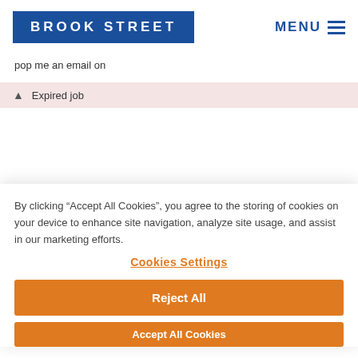BROOK STREET   MENU
pop me an email on
▲  Expired job
By clicking “Accept All Cookies”, you agree to the storing of cookies on your device to enhance site navigation, analyze site usage, and assist in our marketing efforts.
Cookies Settings
Reject All
Accept All Cookies